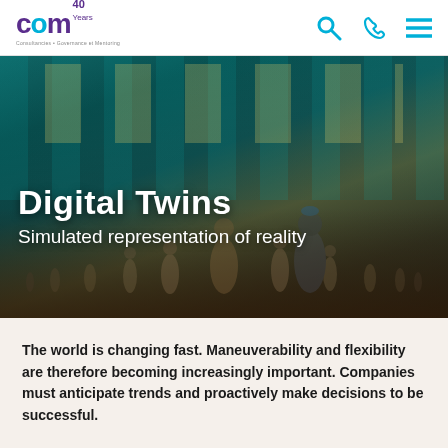CGM 40 years — Consultancies + Governance + Mentoring
[Figure (photo): Hero image showing multiple digital twin human figures standing in a large teal-lit futuristic hall with reflective floor and yellow ceiling lights. Overlaid text reads: Digital Twins / Simulated representation of reality]
Digital Twins
Simulated representation of reality
The world is changing fast. Maneuverability and flexibility are therefore becoming increasingly important. Companies must anticipate trends and proactively make decisions to be successful.